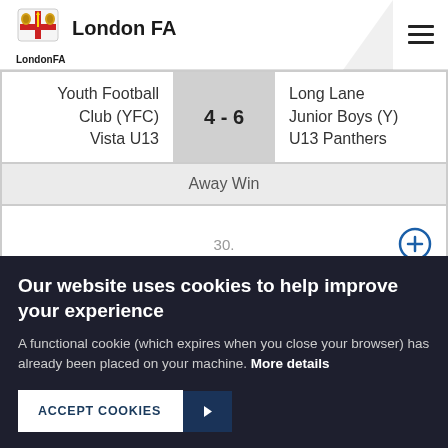London FA
| Home Team | Score | Away Team |
| --- | --- | --- |
| Youth Football Club (YFC) Vista U13 | 4 - 6 | Long Lane Junior Boys (Y) U13 Panthers |
| Away Win |  |  |
| 30. |  |  |
| 03/11/19 | 12:00 |  |
Our website uses cookies to help improve your experience
A functional cookie (which expires when you close your browser) has already been placed on your machine. More details
ACCEPT COOKIES